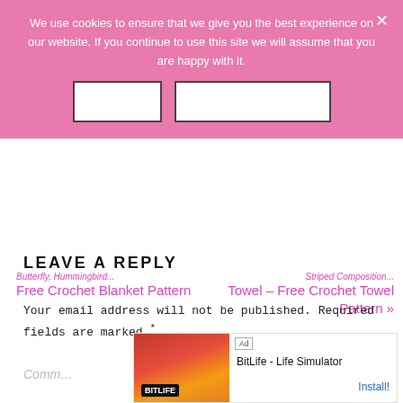We use cookies to ensure that we give you the best experience on our website. If you continue to use this site we will assume that you are happy with it.
← Butterfly, Hummingbird... Free Crochet Blanket Pattern
Striped Composition Towel – Free Crochet Towel Pattern »
LEAVE A REPLY
Your email address will not be published. Required fields are marked *
Comment
[Figure (screenshot): Advertisement banner for BitLife - Life Simulator app with colorful game imagery, Ad label, and Install button]